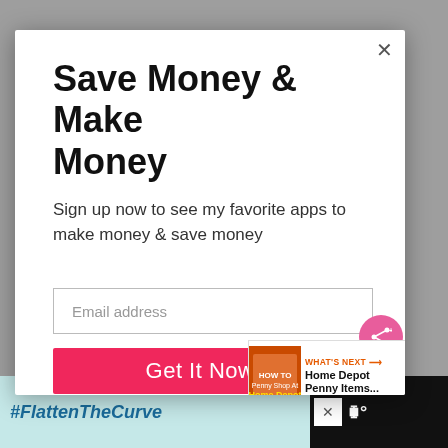Save Money & Make Money
Sign up now to see my favorite apps to make money & save money
Email address
Get It Now
WHAT'S NEXT → Home Depot Penny Items...
#FlattenTheCurve